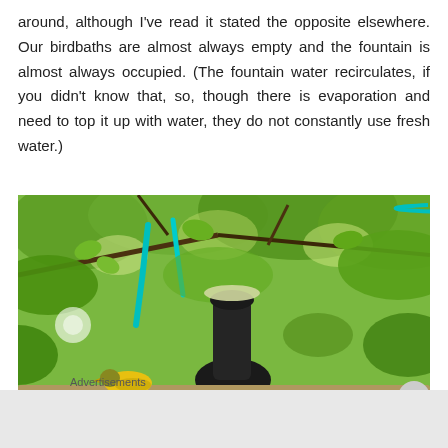around, although I've read it stated the opposite elsewhere. Our birdbaths are almost always empty and the fountain is almost always occupied. (The fountain water recirculates, if you didn't know that, so, though there is evaporation and need to top it up with water, they do not constantly use fresh water.)
[Figure (photo): A bird perched at the base of a dark fountain/vase surrounded by green tree leaves with teal ribbons hanging from branches]
Advertisements